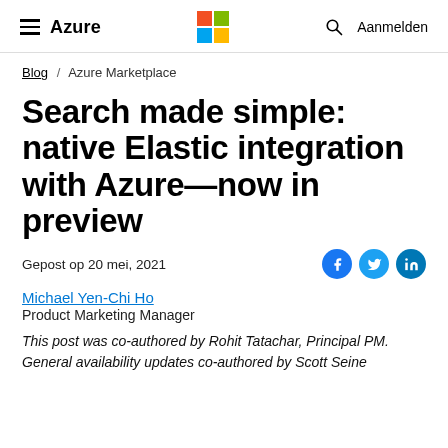Azure | Microsoft
Blog / Azure Marketplace
Search made simple: native Elastic integration with Azure—now in preview
Gepost op 20 mei, 2021
Michael Yen-Chi Ho
Product Marketing Manager
This post was co-authored by Rohit Tatachar, Principal PM. General availability updates co-authored by Scott Seins